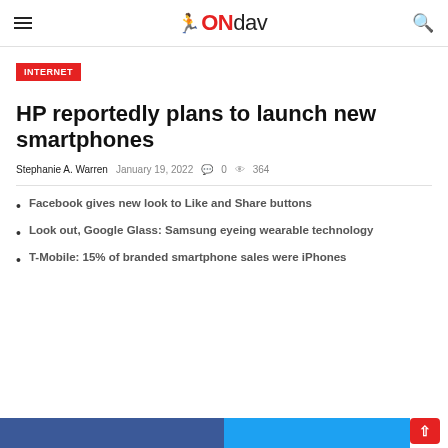≡ 🏃ONdav 🔍
INTERNET
HP reportedly plans to launch new smartphones
Stephanie A. Warren  January 19, 2022  💬 0  👁 364
Facebook gives new look to Like and Share buttons
Look out, Google Glass: Samsung eyeing wearable technology
T-Mobile: 15% of branded smartphone sales were iPhones